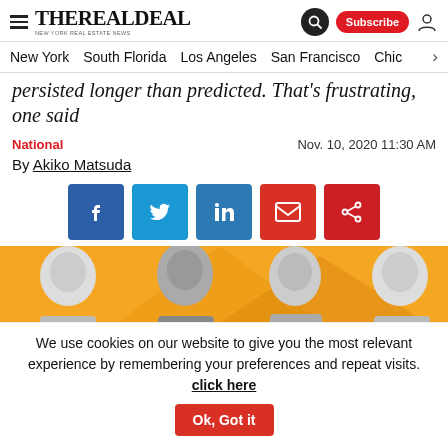THE REAL DEAL — NEW YORK REAL ESTATE NEWS
New York | South Florida | Los Angeles | San Francisco | Chic
persisted longer than predicted. That's frustrating, one said
National   Nov. 10, 2020 11:30 AM
By Akiko Matsuda
[Figure (other): Social share buttons: Facebook, Twitter, LinkedIn, Email, Share]
[Figure (photo): Four men against orange background — article header photo]
We use cookies on our website to give you the most relevant experience by remembering your preferences and repeat visits. click here   Ok, Got it